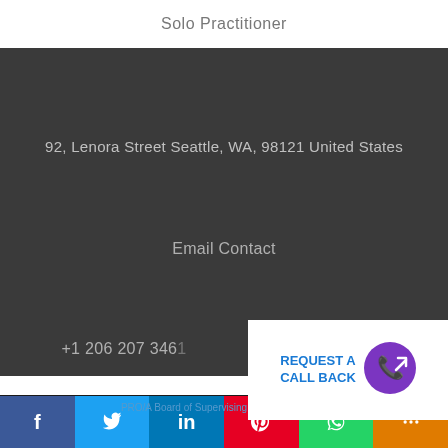Solo Practitioner
92, Lenora Street Seattle, WA, 98121 United States
Email Contact
+1 206 207 3461
[Figure (infographic): REQUEST A CALL BACK button with purple phone icon on white background]
[Figure (infographic): Social media icons row: Facebook, Twitter, LinkedIn, Google]
f  Twitter  in  Pinterest  WhatsApp  Share